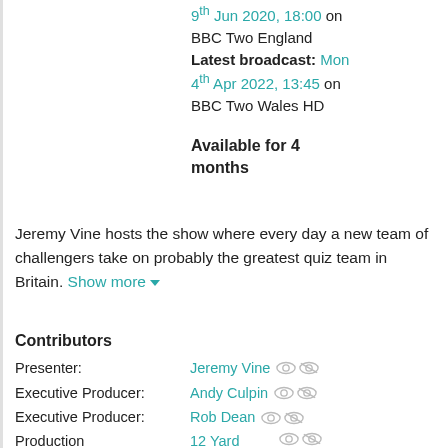9th Jun 2020, 18:00 on BBC Two England Latest broadcast: Mon 4th Apr 2022, 13:45 on BBC Two Wales HD
Available for 4 months
Jeremy Vine hosts the show where every day a new team of challengers take on probably the greatest quiz team in Britain. Show more
Contributors
Presenter: Jeremy Vine
Executive Producer: Andy Culpin
Executive Producer: Rob Dean
Production Company: 12 Yard Productions